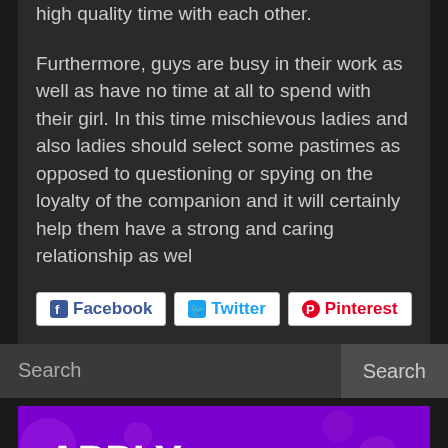high quality time with each other.

Furthermore, guys are busy in their work as well as have no time at all to spend with their girl. In this time mischievous ladies and also ladies should select some pastimes as opposed to questioning or spying on the loyalty of the companion and it will certainly help them have a strong and caring relationship as wel
Facebook  Twitter  Pinterest
Search  Search
[Figure (illustration): Purple banner advertisement with text 'APPLY TO WORK AS AN ESCORT' with decorative bokeh background and a person partially visible at the bottom, plus a green phone call button in the bottom right corner.]